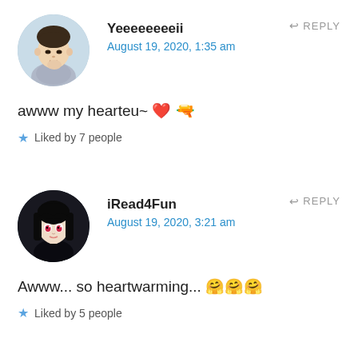[Figure (photo): Circular avatar photo of a young Asian person]
Yeeeeeeeeii
August 19, 2020, 1:35 am
REPLY
awww my hearteu~ ❤ 🔫
Liked by 7 people
[Figure (photo): Circular avatar showing anime-style character with dark hair and red eyes]
iRead4Fun
August 19, 2020, 3:21 am
REPLY
Awww... so heartwarming... 🤗😊🥰
Liked by 5 people